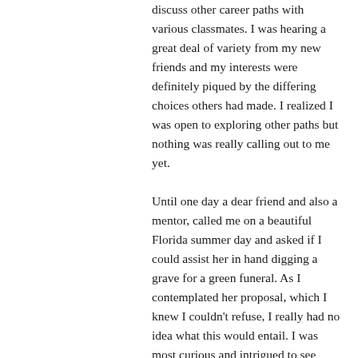discuss other career paths with various classmates. I was hearing a great deal of variety from my new friends and my interests were definitely piqued by the differing choices others had made. I realized I was open to exploring other paths but nothing was really calling out to me yet.
Until one day a dear friend and also a mentor, called me on a beautiful Florida summer day and asked if I could assist her in hand digging a grave for a green funeral. As I contemplated her proposal, which I knew I couldn't refuse, I really had no idea what this would entail. I was most curious and intrigued to see what a green funeral would look like and I was also excited to help. While we were digging a hole four feet under the earth's surface, the conversation on her path to becoming a funeral director